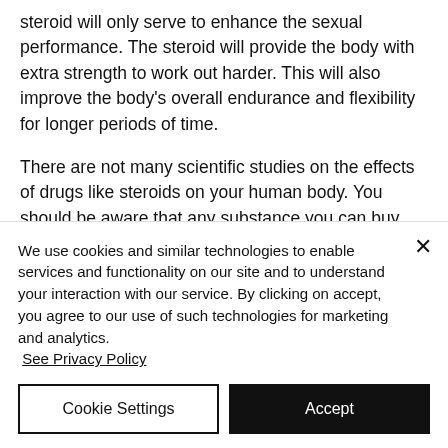steroid will only serve to enhance the sexual performance. The steroid will provide the body with extra strength to work out harder. This will also improve the body's overall endurance and flexibility for longer periods of time.
There are not many scientific studies on the effects of drugs like steroids on your human body. You should be aware that any substance you can buy can potentially alter your body in a positive way and can have
We use cookies and similar technologies to enable services and functionality on our site and to understand your interaction with our service. By clicking on accept, you agree to our use of such technologies for marketing and analytics. See Privacy Policy